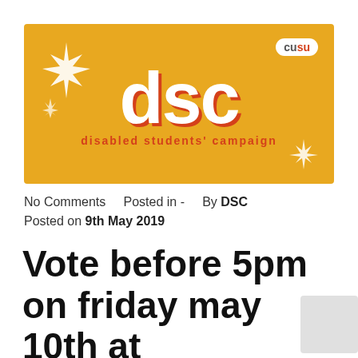[Figure (logo): DSC - Disabled Students' Campaign logo on golden yellow background with sparkle decorations and CUSU badge]
No Comments   Posted in -   By DSC
Posted on 9th May 2019
Vote before 5pm on friday may 10th at